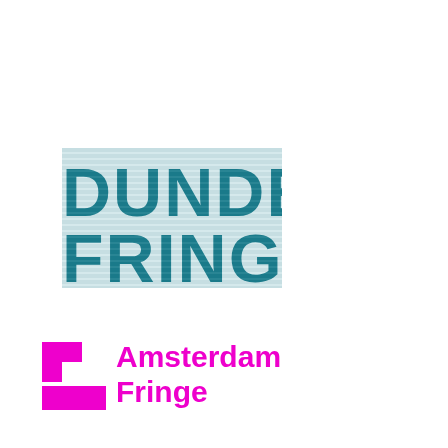[Figure (logo): Dundee Fringe logo in teal/dark cyan bold uppercase text with horizontal stripe texture, reading DUNDEE on first line and FRINGE on second line]
[Figure (logo): Amsterdam Fringe logo consisting of a magenta/hot-pink square bracket-like icon on the left and the text 'Amsterdam Fringe' in bold magenta on the right]